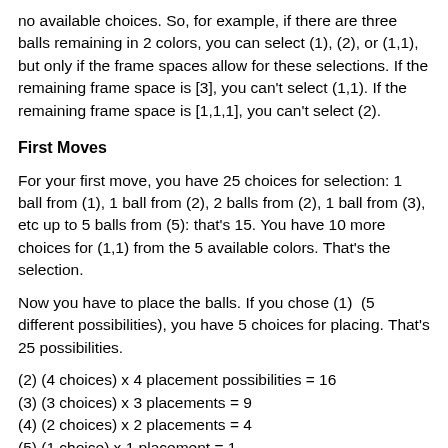no available choices. So, for example, if there are three balls remaining in 2 colors, you can select (1), (2), or (1,1), but only if the frame spaces allow for these selections. If the remaining frame space is [3], you can't select (1,1). If the remaining frame space is [1,1,1], you can't select (2).
First Moves
For your first move, you have 25 choices for selection: 1 ball from (1), 1 ball from (2), 2 balls from (2), 1 ball from (3), etc up to 5 balls from (5): that's 15. You have 10 more choices for (1,1) from the 5 available colors. That's the selection.
Now you have to place the balls. If you chose (1)  (5 different possibilities), you have 5 choices for placing. That's 25 possibilities.
(2) (4 choices) x 4 placement possibilities = 16
(3) (3 choices) x 3 placements = 9
(4) (2 choices) x 2 placements = 4
(5) (1 choice) x 1 placement = 1
(1,1) (10 choices) x 10 placements = 100
Add it all together and you get a total of 155 options for